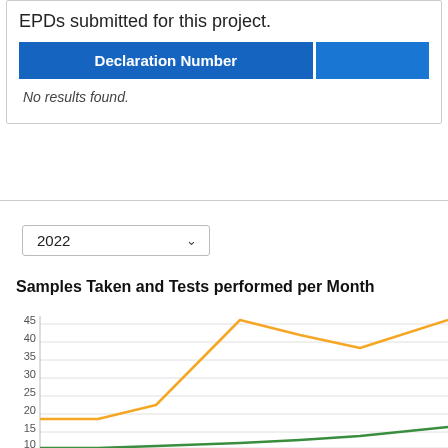EPDs submitted for this project.
| Declaration Number |  |
| --- | --- |
| No results found. |  |
2022
Samples Taken and Tests performed per Month
[Figure (line-chart): Line chart showing two lines (orange and green) for samples taken and tests performed per month over 2022. Y-axis shows values from 10 to 45+. Orange line rises from ~16 to ~47 then drops to ~40 and rises again. Green line stays lower, rising gradually to ~17.]